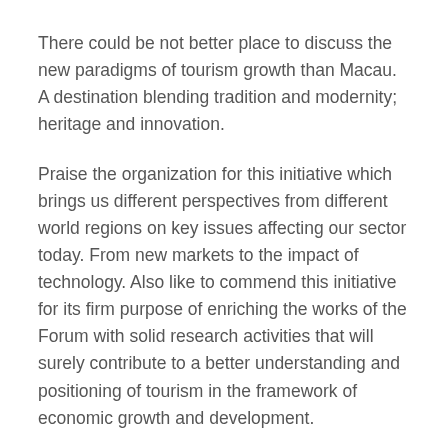There could be not better place to discuss the new paradigms of tourism growth than Macau. A destination blending tradition and modernity; heritage and innovation.
Praise the organization for this initiative which brings us different perspectives from different world regions on key issues affecting our sector today. From new markets to the impact of technology. Also like to commend this initiative for its firm purpose of enriching the works of the Forum with solid research activities that will surely contribute to a better understanding and positioning of tourism in the framework of economic growth and development.
Tourism is today a trillion-dollar sector, involving the movement of billions of people each year. By the end of 2012, UNWTO forecasts 1 billion international tourists to travel worldwide. Four times that number...